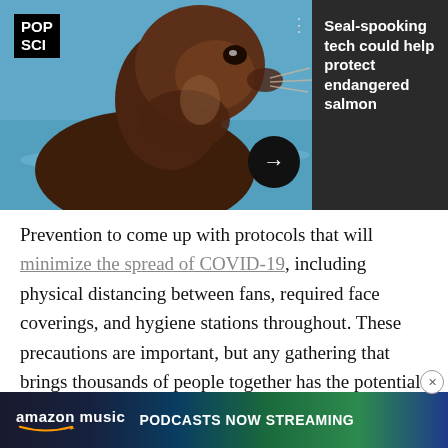[Figure (screenshot): Pop Sci advertisement banner showing a sea lion/seal looking upward against a teal water background, with dark panel on the right showing headline 'Seal-spooking tech could help protect endangered salmon', with navigation arrow and close/menu controls]
Prevention to come up with protocols that will minimize the spread of COVID-19, including physical distancing between fans, required face coverings, and hygiene stations throughout. These precautions are important, but any gathering that brings thousands of people together has the potential to become a superspreading event.
“It’s unwise to bring disparate people together in a congregation during a pandemic,
[Figure (screenshot): Amazon Music advertisement banner: dark gradient background with amazon music logo and text 'PODCASTS NOW STREAMING' in bold white uppercase letters]